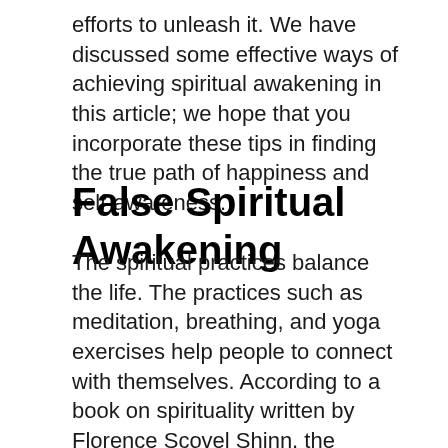efforts to unleash it. We have discussed some effective ways of achieving spiritual awakening in this article; we hope that you incorporate these tips in finding the true path of happiness and self-awareness.
False Spiritual Awakening
The spiritual practices balance the life. The practices such as meditation, breathing, and yoga exercises help people to connect with themselves. According to a book on spirituality written by Florence Scovel Shinn, the subconscious mind needs programming, and if it's not done then someone else will program it. Nowadays, without spiritual